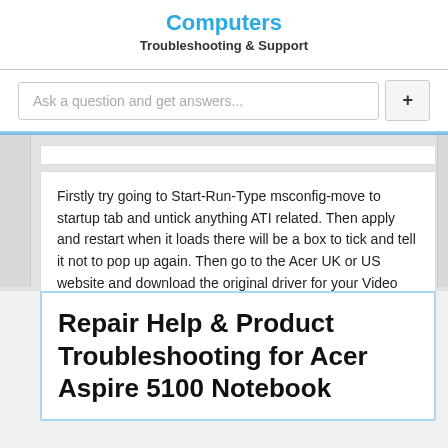Computers
Troubleshooting & Support
Ask a question and get answers...
Firstly try going to Start-Run-Type msconfig-move to startup tab and untick anything ATI related. Then apply and restart when it loads there will be a box to tick and tell it not to pop up again. Then go to the Acer UK or US website and download the original driver for your Video device and install it to be sure that your graphics are installed properly
Repair Help & Product Troubleshooting for Acer Aspire 5100 Notebook